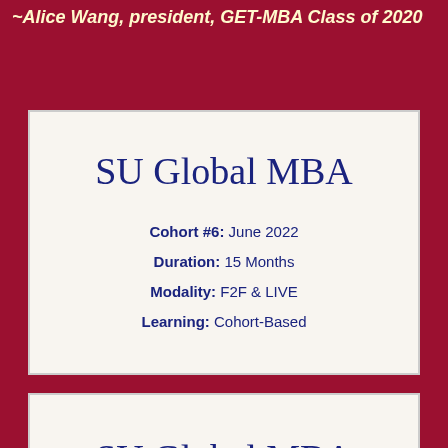~Alice Wang, president, GET-MBA Class of 2020
SU Global MBA
Cohort #6: June 2022
Duration: 15 Months
Modality: F2F & LIVE
Learning: Cohort-Based
SU Global MBA